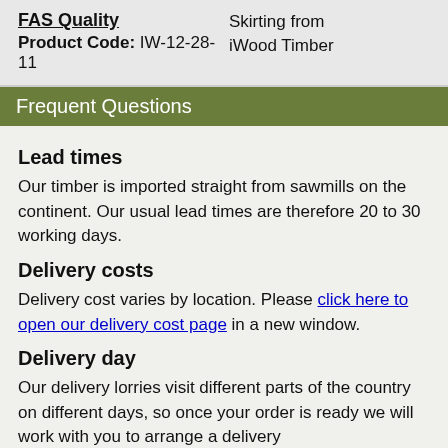FAS Quality
Product Code: IW-12-28-11
Skirting from iWood Timber
Frequent Questions
Lead times
Our timber is imported straight from sawmills on the continent. Our usual lead times are therefore 20 to 30 working days.
Delivery costs
Delivery cost varies by location. Please click here to open our delivery cost page in a new window.
Delivery day
Our delivery lorries visit different parts of the country on different days, so once your order is ready we will work with you to arrange a delivery